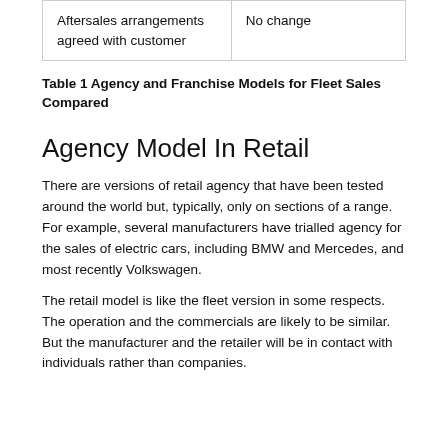| Aftersales arrangements agreed with customer | No change |
Table 1 Agency and Franchise Models for Fleet Sales Compared
Agency Model In Retail
There are versions of retail agency that have been tested around the world but, typically, only on sections of a range. For example, several manufacturers have trialled agency for the sales of electric cars, including BMW and Mercedes, and most recently Volkswagen.
The retail model is like the fleet version in some respects. The operation and the commercials are likely to be similar. But the manufacturer and the retailer will be in contact with individuals rather than companies.